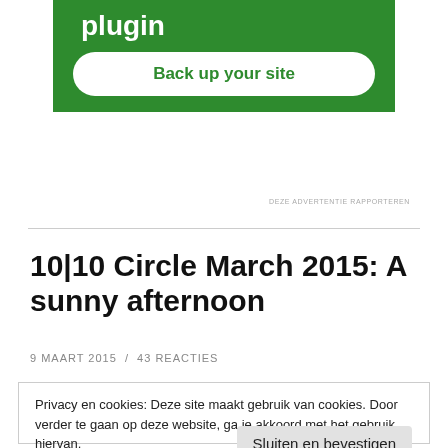[Figure (screenshot): Green advertisement banner for a plugin with text 'plugin' and a white rounded button 'Back up your site']
DEZE ADVERTENTIE RAPPORTEREN
10|10 Circle March 2015: A sunny afternoon
9 MAART 2015  /  43 REACTIES
Privacy en cookies: Deze site maakt gebruik van cookies. Door verder te gaan op deze website, ga je akkoord met het gebruik hiervan.
Voor meer informatie, onder andere over cookiebeheer, bekijk je:
Cookiebeleid
Sluiten en bevestigen